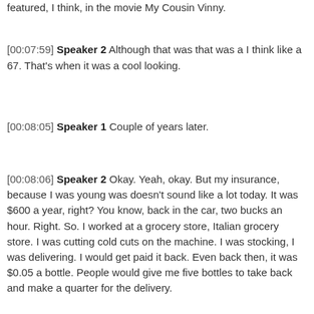featured, I think, in the movie My Cousin Vinny.
[00:07:59] Speaker 2 Although that was that was a I think like a 67. That's when it was a cool looking.
[00:08:05] Speaker 1 Couple of years later.
[00:08:06] Speaker 2 Okay. Yeah, okay. But my insurance, because I was young was doesn't sound like a lot today. It was $600 a year, right? You know, back in the car, two bucks an hour. Right. So. I worked at a grocery store, Italian grocery store. I was cutting cold cuts on the machine. I was stocking, I was delivering. I would get paid it back. Even back then, it was $0.05 a bottle. People would give me five bottles to take back and make a quarter for the delivery.